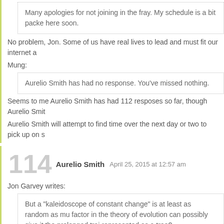Many apologies for not joining in the fray. My schedule is a bit packe here soon.
No problem, Jon. Some of us have real lives to lead and must fit our internet a
Mung:
Aurelio Smith has had no response. You've missed nothing.
Seems to me Aurelio Smith has had 112 resposes so far, though Aurelio Smit
Aurelio Smith will attempt to find time over the next day or two to pick up on s
114  Aurelio Smith  April 25, 2015 at 12:57 am
Jon Garvey writes:
But a "kaleidoscope of constant change" is at least as random as mu factor in the theory of evolution can possibly give it the prolonged traj represented as a tree?